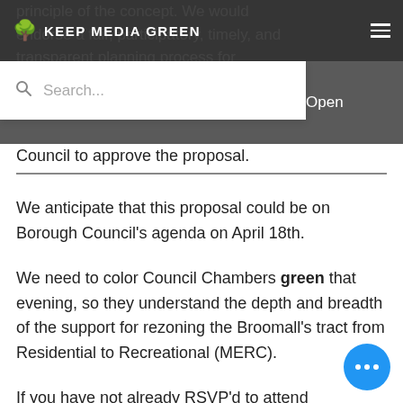KEEP MEDIA GREEN
principle of the concept. We would endorse a fair, participatory, timely, and transparent planning process for ... Open ... ed to ... he full
Council to approve the proposal.
We anticipate that this proposal could be on Borough Council's agenda on April 18th.
We need to color Council Chambers green that evening, so they understand the depth and breadth of the support for rezoning the Broomall's tract from Residential to Recreational (MERC).
If you have not already RSVP'd to attend